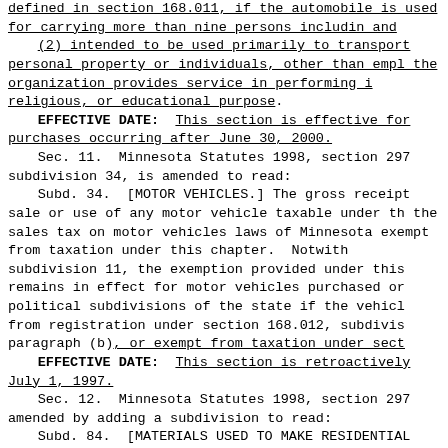defined in section 168.011, if the automobile is used for carrying more than nine persons includin and
(2) intended to be used primarily to transport personal property or individuals, other than empl the organization provides service in performing i religious, or educational purpose.
EFFECTIVE DATE: This section is effective for purchases occurring after June 30, 2000.
Sec. 11. Minnesota Statutes 1998, section 297 subdivision 34, is amended to read:
Subd. 34. [MOTOR VEHICLES.] The gross receipt sale or use of any motor vehicle taxable under th the sales tax on motor vehicles laws of Minnesota exempt from taxation under this chapter. Notwith subdivision 11, the exemption provided under this remains in effect for motor vehicles purchased or political subdivisions of the state if the vehicl from registration under section 168.012, subdivis paragraph (b), or exempt from taxation under sect
EFFECTIVE DATE: This section is retroactively July 1, 1997.
Sec. 12. Minnesota Statutes 1998, section 297 amended by adding a subdivision to read:
Subd. 84. [MATERIALS USED TO MAKE RESIDENTIAL